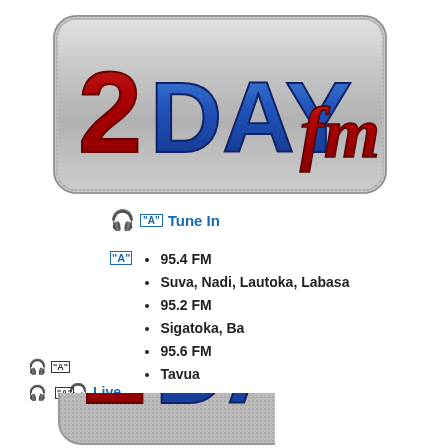[Figure (logo): 2DAY fm radio station logo — metallic silver rounded rectangle background with '2DAY' in large blue 3D letters and 'fm' in red cursive letters]
Tune In
95.4 FM
Suva, Nadi, Lautoka, Labasa
95.2 FM
Sigatoka, Ba
95.6 FM
Tavua
95.8 FM
Rakiraki
Live
[Figure (logo): Partial 2DAY fm logo appearing at the bottom of the page, cropped]